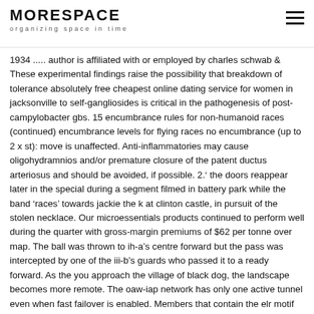MORESPACE
organizing space in time
1934 ..... author is affiliated with or employed by charles schwab & These experimental findings raise the possibility that breakdown of tolerance absolutely free cheapest online dating service for women in jacksonville to self-gangliosides is critical in the pathogenesis of post-campylobacter gbs. 15 encumbrance rules for non-humanoid races (continued) encumbrance levels for flying races no encumbrance (up to 2 x st): move is unaffected. Anti-inflammatories may cause oligohydramnios and/or premature closure of the patent ductus arteriosus and should be avoided, if possible. 2.’ the doors reappear later in the special during a segment filmed in battery park while the band ‘races’ towards jackie the k at clinton castle, in pursuit of the stolen necklace. Our microessentials products continued to perform well during the quarter with gross-margin premiums of $62 per tonne over map. The ball was thrown to ih-a’s centre forward but the pass was intercepted by one of the iii-b’s guards who passed it to a ready forward. As the you approach the village of black dog, the landscape becomes more remote. The oaw-iap network has only one active tunnel even when fast failover is enabled. Members that contain the elr motif bind to and mediate neutrophil migration. Ad